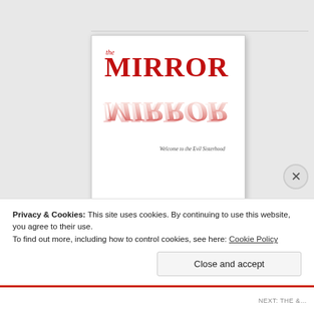[Figure (illustration): Book cover for 'The Mirror Mirror' showing the title in large bold red serif font with a mirrored reflection effect below, and subtitle 'Welcome to the Evil Sisterhood' in small italic text]
Privacy & Cookies: This site uses cookies. By continuing to use this website, you agree to their use.
To find out more, including how to control cookies, see here: Cookie Policy
Close and accept